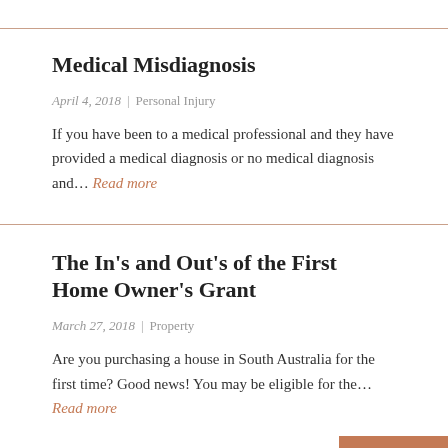Medical Misdiagnosis
April 4, 2018  |  Personal Injury
If you have been to a medical professional and they have provided a medical diagnosis or no medical diagnosis and... Read more
The In's and Out's of the First Home Owner's Grant
March 27, 2018  |  Property
Are you purchasing a house in South Australia for the first time? Good news! You may be eligible for the... Read more